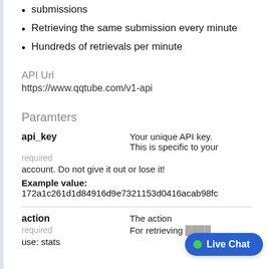submissions
Retrieving the same submission every minute
Hundreds of retrievals per minute
API Url
https://www.qqtube.com/v1-api
Paramters
api_key   Your unique API key. This is specific to your account. Do not give it out or lose it!
required
Example value: 172a1c261d1d84916d9e7321153d0416acab98fc
action   The action   required   For retrieving   use: stats